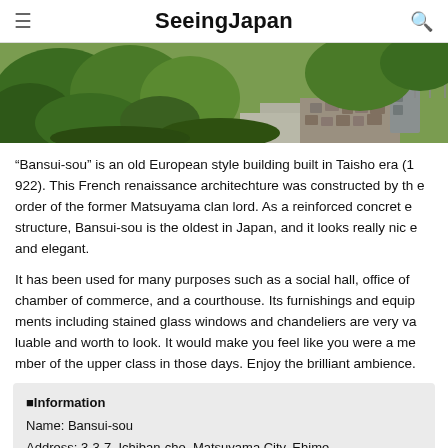SeeingJapan
[Figure (photo): Aerial/elevated view of greenery, trees, pathway, stone wall, and utility box in Japan]
“Bansui-sou” is an old European style building built in Taisho era (1922). This French renaissance architechture was constructed by the order of the former Matsuyama clan lord. As a reinforced concrete structure, Bansui-sou is the oldest in Japan, and it looks really nice and elegant.
It has been used for many purposes such as a social hall, office of chamber of commerce, and a courthouse. Its furnishings and equipments including stained glass windows and chandeliers are very valuable and worth to look. It would make you feel like you were a member of the upper class in those days. Enjoy the brilliant ambience.
■Information
Name: Bansui-sou
Address: 3-3-7, Ichiban-cho, Matsuyama City, Ehime
Phone: +81-89-921-3711
Time: 9:00am-6:00pm